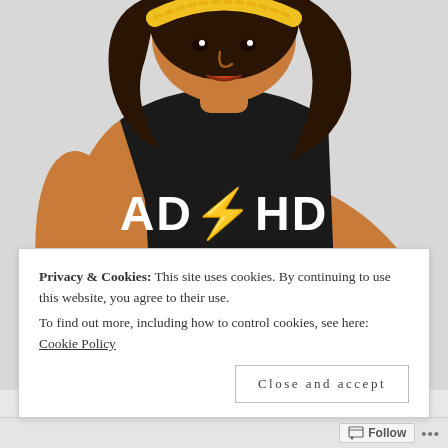[Figure (illustration): Cartoon illustration of a woman with dark curly hair and yellow headband, wearing a black t-shirt that reads 'AD⚡HD BACK IN BLA... HEY LOOK, A SQUIRREL!' in AC/DC-style lettering. She is holding a purple dumbbell and has her hand on her hip. The background is light gray.]
Privacy & Cookies: This site uses cookies. By continuing to use this website, you agree to their use.
To find out more, including how to control cookies, see here: Cookie Policy
Close and accept
Follow ...